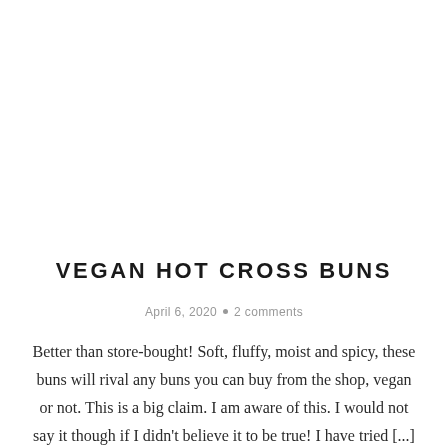VEGAN HOT CROSS BUNS
April 6, 2020 • 2 comments
Better than store-bought! Soft, fluffy, moist and spicy, these buns will rival any buns you can buy from the shop, vegan or not. This is a big claim. I am aware of this. I would not say it though if I didn't believe it to be true! I have tried [...]